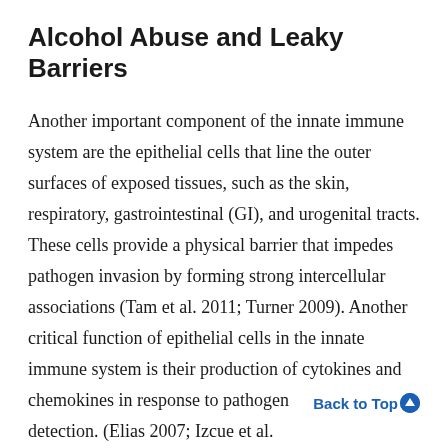Alcohol Abuse and Leaky Barriers
Another important component of the innate immune system are the epithelial cells that line the outer surfaces of exposed tissues, such as the skin, respiratory, gastrointestinal (GI), and urogenital tracts. These cells provide a physical barrier that impedes pathogen invasion by forming strong intercellular associations (Tam et al. 2011; Turner 2009). Another critical function of epithelial cells in the innate immune system is their production of cytokines and chemokines in response to pathogen detection. (Elias 2007; Izcue et al. 2009; Parker and